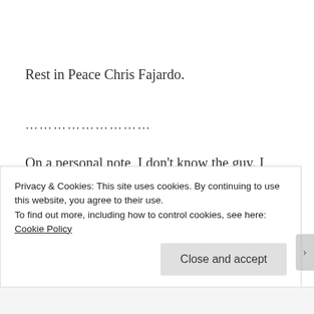Rest in Peace Chris Fajardo.
…………………
On a personal note, I don't know the guy. I didn't get the chance to meet him in person. I have Chris as one of my Facebook contacts. He was the one who sent me the Facebook friend invite. I never
Privacy & Cookies: This site uses cookies. By continuing to use this website, you agree to their use.
To find out more, including how to control cookies, see here: Cookie Policy
Close and accept